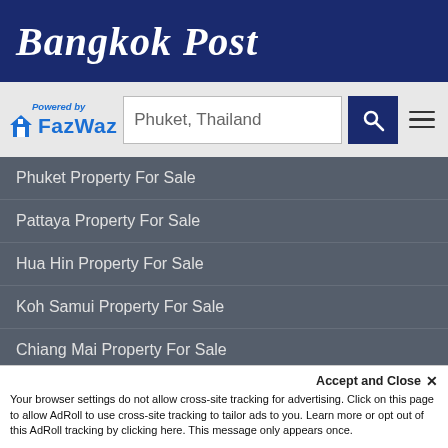Bangkok Post
[Figure (screenshot): FazWaz logo with house icon and 'Powered by FazWaz' text in blue]
Phuket, Thailand
Phuket Property For Sale
Pattaya Property For Sale
Hua Hin Property For Sale
Koh Samui Property For Sale
Chiang Mai Property For Sale
Nearby Real Estate
Condos For Sale Near Me
Villas For Sale Near Me
Houses For Sale Near Me
Accept and Close ✕
Your browser settings do not allow cross-site tracking for advertising. Click on this page to allow AdRoll to use cross-site tracking to tailor ads to you. Learn more or opt out of this AdRoll tracking by clicking here. This message only appears once.